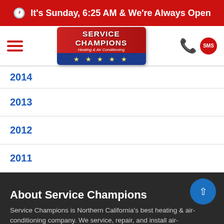It's Sunday, 6:25 AM & We're Always Open
[Figure (logo): Service Champions Heating & Air Conditioning logo with stars on blue/red background]
2014
2013
2012
2011
About Service Champions
Service Champions is Northern California's best heating & air-conditioning company. We service, repair, and install air-